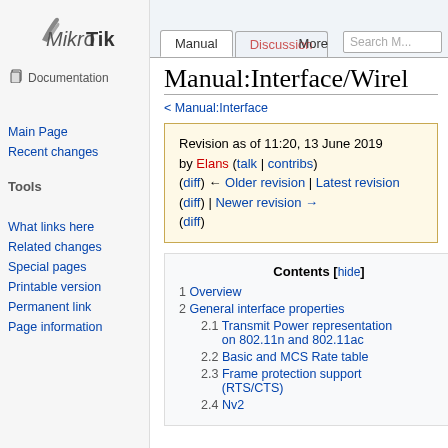[Figure (logo): MikroTik logo with Documentation label]
Main Page
Recent changes
Tools
What links here
Related changes
Special pages
Printable version
Permanent link
Page information
Manual | Discussion | More | Search M...
Manual:Interface/Wirel
< Manual:Interface
Revision as of 11:20, 13 June 2019 by Elans (talk | contribs) (diff) ← Older revision | Latest revision (diff) | Newer revision → (diff)
| 1 | Overview |
| 2 | General interface properties |
| 2.1 | Transmit Power representation on 802.11n and 802.11ac |
| 2.2 | Basic and MCS Rate table |
| 2.3 | Frame protection support (RTS/CTS) |
| 2.4 | Nv2 |